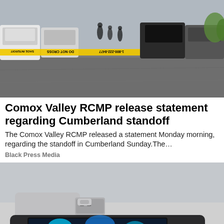[Figure (photo): Crime scene with police tape reading 'DO NOT CROSS' and multiple vehicles parked in a parking lot]
Comox Valley RCMP release statement regarding Cumberland standoff
The Comox Valley RCMP released a statement Monday morning, regarding the standoff in Cumberland Sunday.The…
Black Press Media
[Figure (photo): A futuristic USB flash drive with a screen displaying 'Company folder' and digital cloud file icons, with a scroll-up button overlay]